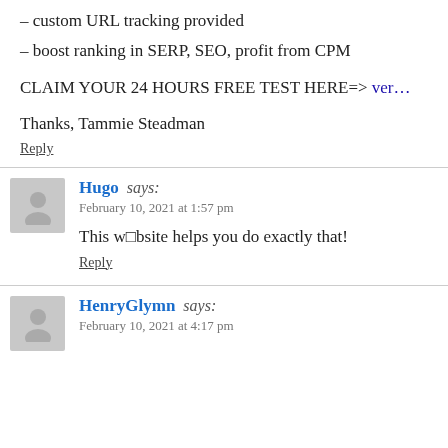– custom URL tracking provided
– boost ranking in SERP, SEO, profit from CPM
CLAIM YOUR 24 HOURS FREE TEST HERE=> ver…
Thanks, Tammie Steadman
Reply
Hugo says: February 10, 2021 at 1:57 pm
This w□bsite helps you do exactly that!
Reply
HenryGlymn says: February 10, 2021 at 4:17 pm